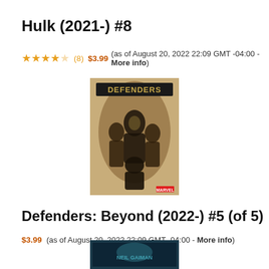Hulk (2021-) #8
★★★★☆ (8) $3.99 (as of August 20, 2022 22:09 GMT -04:00 - More info)
[Figure (photo): Comic book cover for Defenders: Beyond showing multiple superhero characters in sepia/gold tones with 'DEFENDERS' text at top]
Defenders: Beyond (2022-) #5 (of 5)
$3.99 (as of August 20, 2022 22:09 GMT -04:00 - More info)
[Figure (photo): Partial comic book cover visible at bottom of page with teal/green tones]